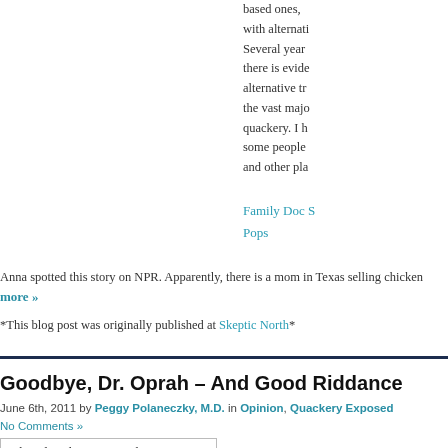based ones, with alternative Several years there is evidence alternative tr the vast major quackery. I h some people and other pla
Family Doc S Pops
Anna spotted this story on NPR. Apparently, there is a mom in Texas selling chicken more »
*This blog post was originally published at Skeptic North*
Goodbye, Dr. Oprah – And Good Riddance
June 6th, 2011 by Peggy Polaneczky, M.D. in Opinion, Quackery Exposed
No Comments »
[Figure (logo): The Blog that Ate Manhattan logo box with subtitle: Food, Considerations & Second Opinions]